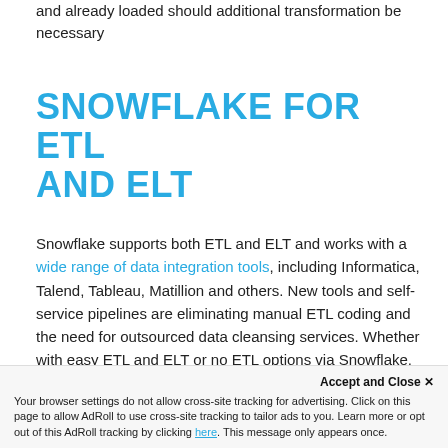and already loaded should additional transformation be necessary
SNOWFLAKE FOR ETL AND ELT
Snowflake supports both ETL and ELT and works with a wide range of data integration tools, including Informatica, Talend, Tableau, Matillion and others. New tools and self-service pipelines are eliminating manual ETL coding and the need for outsourced data cleansing services. Whether with easy ETL and ELT or no ETL options via Snowflake, data engineers can spend more time working on critical data strategy and pipeline optimization projects.
Accept and Close ×
Your browser settings do not allow cross-site tracking for advertising. Click on this page to allow AdRoll to use cross-site tracking to tailor ads to you. Learn more or opt out of this AdRoll tracking by clicking here. This message only appears once.